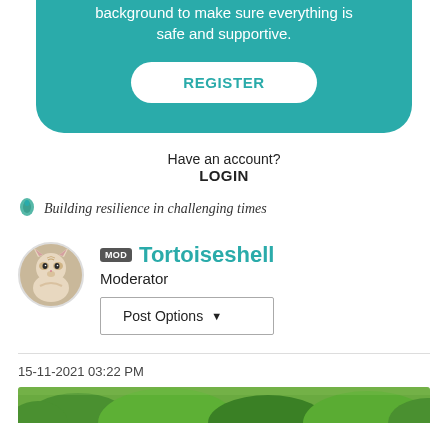background to make sure everything is safe and supportive.
REGISTER
Have an account?
LOGIN
Building resilience in challenging times
MOD Tortoiseshell
Moderator
Post Options
15-11-2021 03:22 PM
[Figure (photo): Outdoor nature photo with trees and green foliage visible at bottom of page]